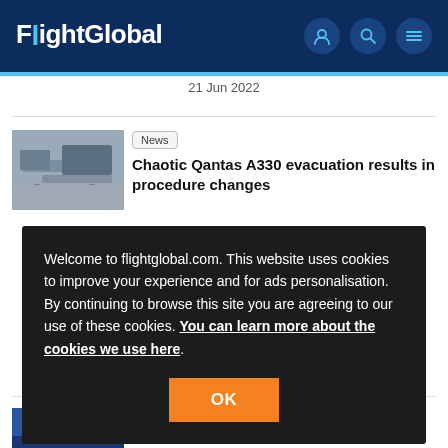FlightGlobal
21 Jun 2022
[Figure (photo): Aircraft on tarmac, Qantas A330]
News
Chaotic Qantas A330 evacuation results in procedure changes
Welcome to flightglobal.com. This website uses cookies to improve your experience and for ads personalisation. By continuing to browse this site you are agreeing to our use of these cookies. You can learn more about the cookies we use here.
[Figure (photo): Person speaking at press conference, news article image]
News